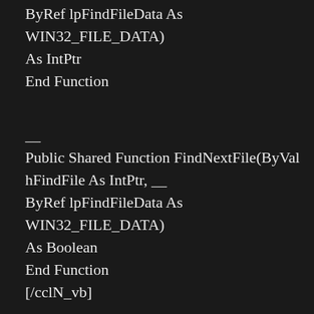ByRef lpFindFileData As WIN32_FILE_DATA) As IntPtr
End Function
__
Public Shared Function FindNextFile(ByVal hFindFile As IntPtr, __
ByRef lpFindFileData As WIN32_FILE_DATA) As Boolean
End Function
[/cclN_vb]
Now with that bit of code out of the way, making use of it is fairly straight forward, but admittedly more complex than a simple GetFiles() loop. In the below code is the